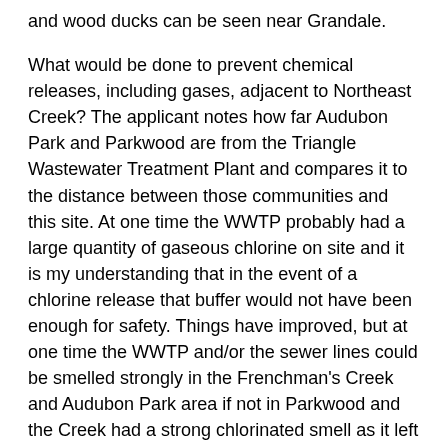and wood ducks can be seen near Grandale.
What would be done to prevent chemical releases, including gases, adjacent to Northeast Creek? The applicant notes how far Audubon Park and Parkwood are from the Triangle Wastewater Treatment Plant and compares it to the distance between those communities and this site. At one time the WWTP probably had a large quantity of gaseous chlorine on site and it is my understanding that in the event of a chlorine release that buffer would not have been enough for safety. Things have improved, but at one time the WWTP and/or the sewer lines could be smelled strongly in the Frenchman's Creek and Audubon Park area if not in Parkwood and the Creek had a strong chlorinated smell as it left Durham County around Grandale. I have heard from City employees that Northeast Creek or other creeks have elevated copper levels because of aerial fallout from a smelter downtown and organic chemicals that might come from the freeways. What about the escape of GMOs or disease-causing organisms?